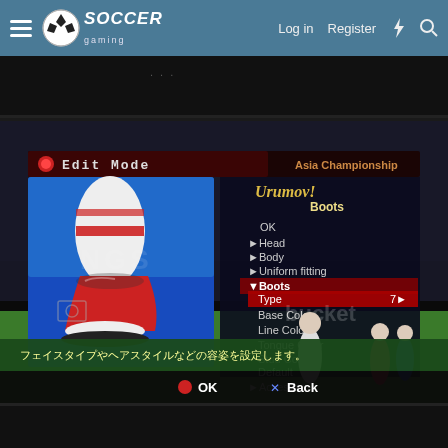Soccer Gaming — Log in | Register
[Figure (screenshot): Partial dark screenshot visible at top, blurred game content]
[Figure (screenshot): Soccer video game Edit Mode screen showing Boots customization menu. Left panel displays a 3D render of red/white soccer boots with white socks. Right panel shows a menu with options: OK, Head, Body, Uniform fitting, Boots (expanded to show: Type 7, Base Color, Line Color 1, 2, Tongue Color, Stud Color, Default), Accesory. Top bar shows Edit Mode and Asia Championship. Bottom bar shows Japanese text and OK / Back buttons. Text overlay shows 'Urumov!' and 'Boots' and 'bucket' watermarks.]
[Figure (screenshot): Partial bottom dark screenshot strip]